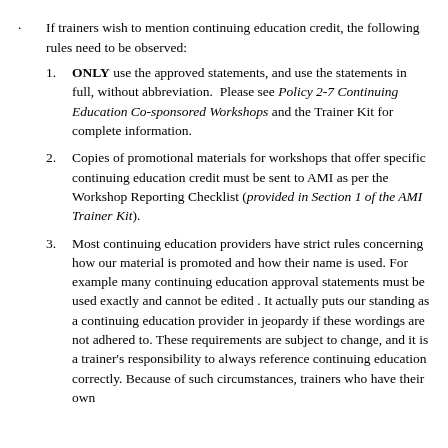If trainers wish to mention continuing education credit, the following rules need to be observed:
1. ONLY use the approved statements, and use the statements in full, without abbreviation. Please see Policy 2-7 Continuing Education Co-sponsored Workshops and the Trainer Kit for complete information.
2. Copies of promotional materials for workshops that offer specific continuing education credit must be sent to AMI as per the Workshop Reporting Checklist (provided in Section 1 of the AMI Trainer Kit).
3. Most continuing education providers have strict rules concerning how our material is promoted and how their name is used. For example many continuing education approval statements must be used exactly and cannot be edited . It actually puts our standing as a continuing education provider in jeopardy if these wordings are not adhered to. These requirements are subject to change, and it is a trainer's responsibility to always reference continuing education correctly. Because of such circumstances, trainers who have their own